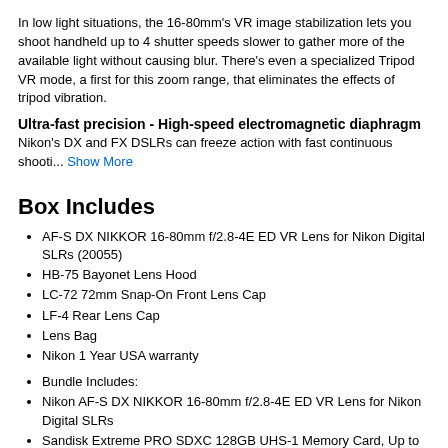In low light situations, the 16-80mm's VR image stabilization lets you shoot handheld up to 4 shutter speeds slower to gather more of the available light without causing blur. There's even a specialized Tripod VR mode, a first for this zoom range, that eliminates the effects of tripod vibration.
Ultra-fast precision - High-speed electromagnetic diaphragm
Nikon's DX and FX DSLRs can freeze action with fast continuous shooti... Show More
Box Includes
AF-S DX NIKKOR 16-80mm f/2.8-4E ED VR Lens for Nikon Digital SLRs (20055)
HB-75 Bayonet Lens Hood
LC-72 72mm Snap-On Front Lens Cap
LF-4 Rear Lens Cap
Lens Bag
Nikon 1 Year USA warranty
Bundle Includes:
Nikon AF-S DX NIKKOR 16-80mm f/2.8-4E ED VR Lens for Nikon Digital SLRs
Sandisk Extreme PRO SDXC 128GB UHS-1 Memory Card, Up to 95/90MB/s Read/Write Speed